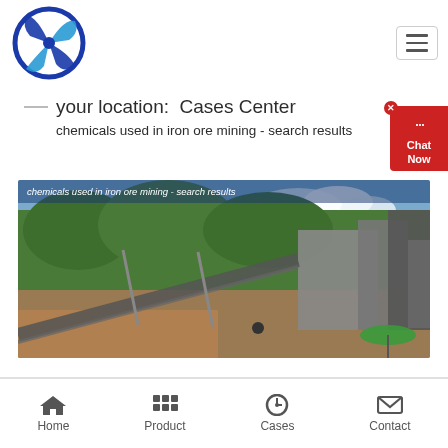[Figure (logo): Blue circular spinning/fan logo with cross blades]
[Figure (other): Hamburger menu button (three horizontal lines)]
your location:  Cases Center
chemicals used in iron ore mining - search results
[Figure (photo): Iron ore mining facility with conveyor belts, industrial machinery, green hills and blue sky in background]
chemicals used in iron ore mining - search results
Home   Product   Cases   Contact